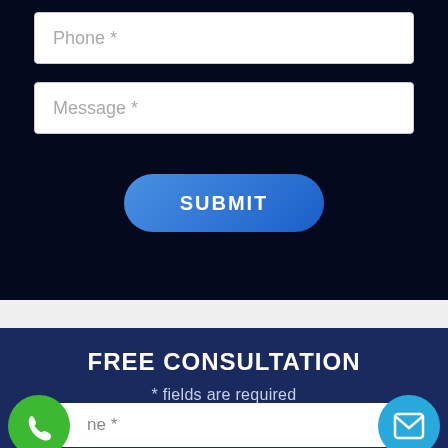[Figure (screenshot): Web form input field with placeholder text 'Phone *' on dark navy background]
[Figure (screenshot): Web form input field with placeholder text 'Message *' on dark navy background]
[Figure (screenshot): Blue rounded SUBMIT button with white uppercase text]
FREE CONSULTATION
* fields are required
[Figure (screenshot): Partial phone input field with green phone icon circle on left and blue email icon circle on right, placeholder text 'ne *']